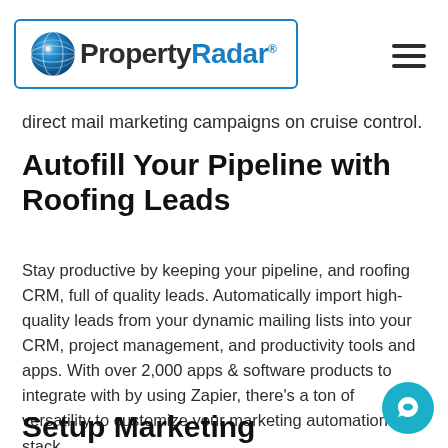PropertyRadar® [logo + hamburger menu]
direct mail marketing campaigns on cruise control.
Autofill Your Pipeline with Roofing Leads
Stay productive by keeping your pipeline, and roofing CRM, full of quality leads. Automatically import high-quality leads from your dynamic mailing lists into your CRM, project management, and productivity tools and apps. With over 2,000 apps & software products to integrate with by using Zapier, there's a ton of versatility to customize your marketing automation stack.
Setup Marketing